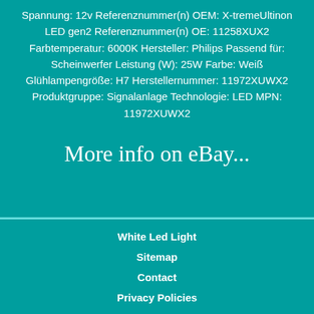Spannung: 12v Referenznummer(n) OEM: X-tremeUltinon LED gen2 Referenznummer(n) OE: 11258XUX2 Farbtemperatur: 6000K Hersteller: Philips Passend für: Scheinwerfer Leistung (W): 25W Farbe: Weiß Glühlampengröße: H7 Herstellernummer: 11972XUWX2 Produktgruppe: Signalanlage Technologie: LED MPN: 11972XUWX2
More info on eBay...
White Led Light
Sitemap
Contact
Privacy Policies